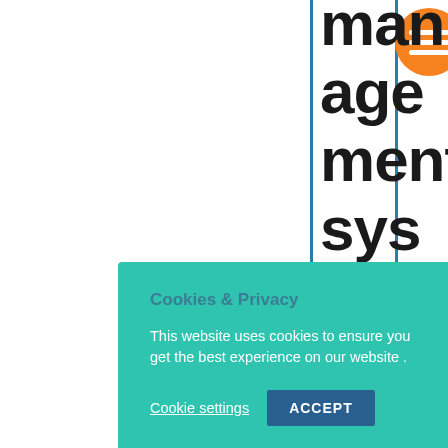[Figure (screenshot): Partial screenshot of a website with two vertical blue lines, large black text reading 'management system will help your organisation locate' on the right side, an orange circular hamburger menu icon in the top right, and a teal cookie consent banner overlaying the lower portion reading 'Cookies & Privacy' with accept and settings options.]
management system will help your organisation locate
Cookies & Privacy
This website uses cookies to ensure you get the best experience on our website .
Cookie settings  ACCEPT